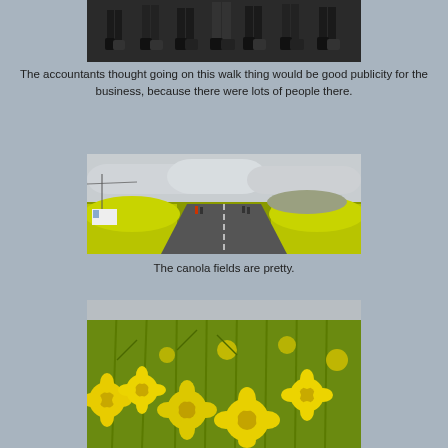[Figure (photo): Partial view of people walking on a road, showing legs and feet from below waist, dark asphalt background]
The accountants thought going on this walk thing would be good publicity for the business, because there were lots of people there.
[Figure (photo): Panoramic view of canola fields with yellow flowers on both sides of a road, cloudy sky, people walking in distance]
The canola fields are pretty.
[Figure (photo): Close-up of bright yellow canola flowers in bloom with branches and gray sky in background]